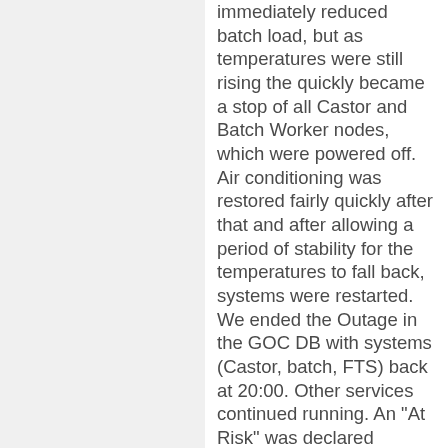immediately reduced batch load, but as temperatures were still rising the quickly became a stop of all Castor and Batch Worker nodes, which were powered off. Air conditioning was restored fairly quickly after that and after allowing a period of stability for the temperatures to fall back, systems were restarted. We ended the Outage in the GOC DB with systems (Castor, batch, FTS) back at 20:00. Other services continued running. An "At Risk" was declared